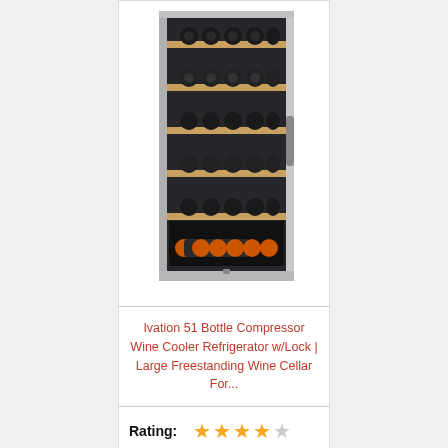[Figure (photo): Wine cooler refrigerator with glass door showing multiple shelves of wine bottles, stainless steel frame]
Ivation 51 Bottle Compressor Wine Cooler Refrigerator w/Lock | Large Freestanding Wine Cellar For...
Rating: ★★★★☆
Price: $569.99 ✓Prime